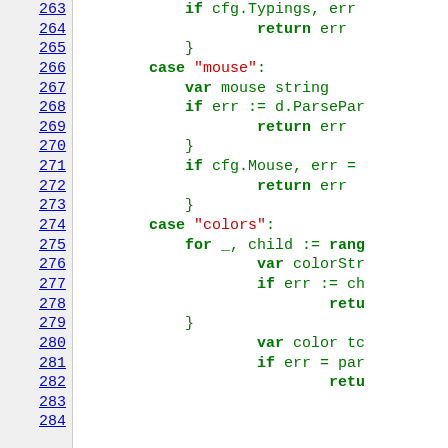[Figure (screenshot): Source code viewer showing Go programming language code lines 263-284, with line numbers on the left in blue/underlined, and syntax-highlighted code on the right. Keywords in bold green, string literals in red, other code in green/black.]